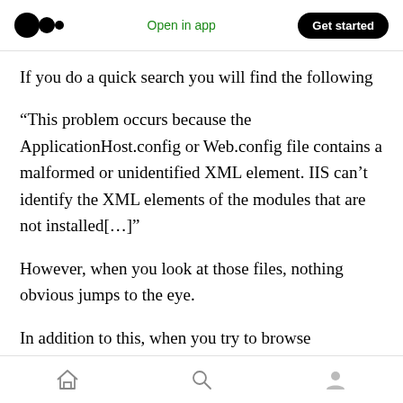Medium logo | Open in app | Get started
If you do a quick search you will find the following
“This problem occurs because the ApplicationHost.config or Web.config file contains a malformed or unidentified XML element. IIS can’t identify the XML elements of the modules that are not installed[…]”
However, when you look at those files, nothing obvious jumps to the eye.
In addition to this, when you try to browse
Home | Search | Profile